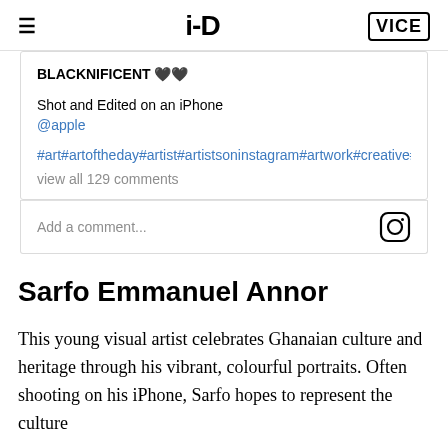i-D | VICE
BLACKNIFICENT 🖤🖤

Shot and Edited on an iPhone
@apple

#art#artoftheday#artist#artistsoninstagram#artwork#creative#afr

view all 129 comments

Add a comment...
Sarfo Emmanuel Annor
This young visual artist celebrates Ghanaian culture and heritage through his vibrant, colourful portraits. Often shooting on his iPhone, Sarfo hopes to represent the culture and way of...